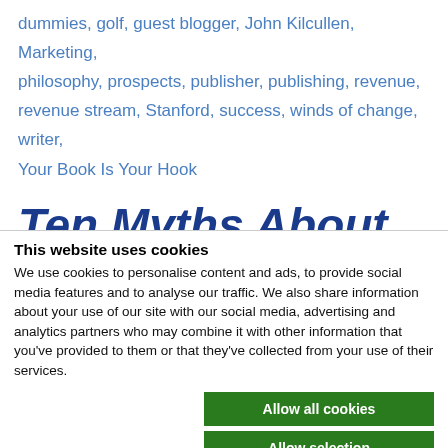dummies, golf, guest blogger, John Kilcullen, Marketing, philosophy, prospects, publisher, publishing, revenue, revenue stream, Stanford, success, winds of change, writer, Your Book Is Your Hook
Ten Myths About
This website uses cookies
We use cookies to personalise content and ads, to provide social media features and to analyse our traffic. We also share information about your use of our site with our social media, advertising and analytics partners who may combine it with other information that you've provided to them or that they've collected from your use of their services.
Allow all cookies
Allow selection
Use necessary cookies only
Necessary  Preferences  Statistics  Marketing  Show details